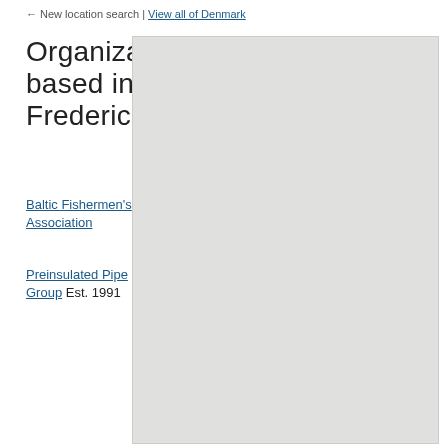← New location search | View all of Denmark
Organizations based in Fredericia
Baltic Fishermen's Association
Preinsulated Pipe Group Est. 1991
[Figure (map): A light grey map area showing region around Fredericia, Denmark]